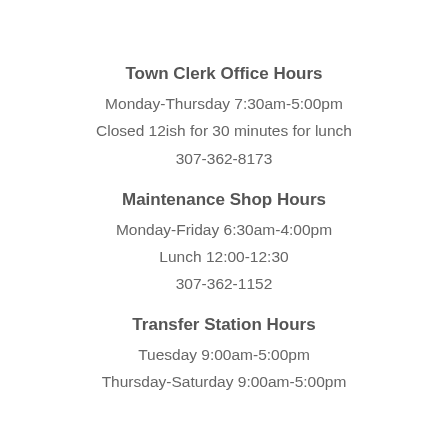Town Clerk Office Hours
Monday-Thursday 7:30am-5:00pm
Closed 12ish for 30 minutes for lunch
307-362-8173
Maintenance Shop Hours
Monday-Friday 6:30am-4:00pm
Lunch 12:00-12:30
307-362-1152
Transfer Station Hours
Tuesday 9:00am-5:00pm
Thursday-Saturday 9:00am-5:00pm